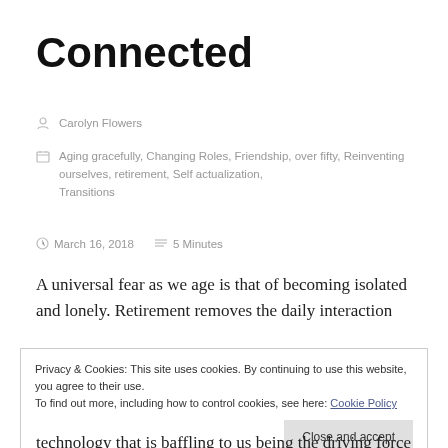Connected
Carolyn Flowers
Aging gracefully, Changing Roles, Friendship, over fifty, Reinventing ourselves, retirement, Self actualization, Transitions
March 16, 2018   5 Minutes
A universal fear as we age is that of becoming isolated and lonely. Retirement removes the daily interaction
Privacy & Cookies: This site uses cookies. By continuing to use this website, you agree to their use.
To find out more, including how to control cookies, see here: Cookie Policy
Close and accept
technology that is baffling to us being the driving force